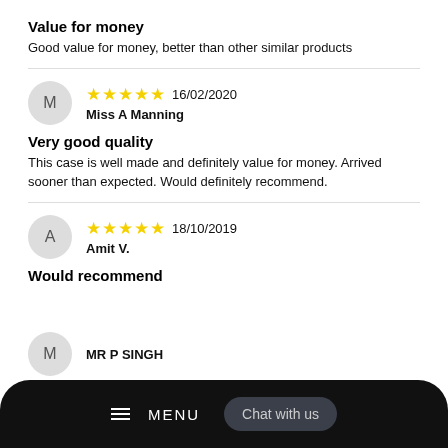Value for money
Good value for money, better than other similar products
★★★★★ 16/02/2020
Miss A Manning
Very good quality
This case is well made and definitely value for money. Arrived sooner than expected. Would definitely recommend.
★★★★★ 18/10/2019
Amit V.
Would recommend
MR P SINGH
[Figure (screenshot): Bottom navigation bar with hamburger menu icon, MENU text, and 'Chat with us' button on dark background]